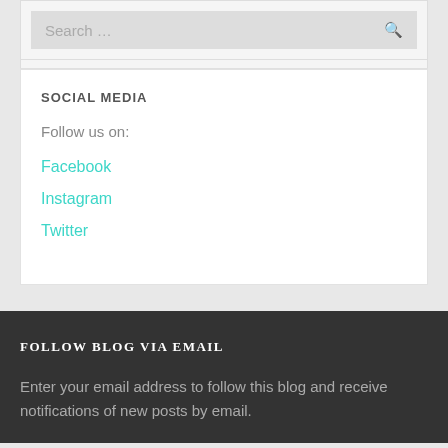Search …
SOCIAL MEDIA
Follow us on:
Facebook
Instagram
Twitter
FOLLOW BLOG VIA EMAIL
Enter your email address to follow this blog and receive notifications of new posts by email.